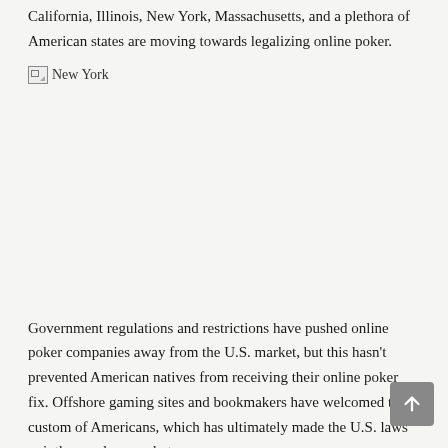California, Illinois, New York, Massachusetts, and a plethora of American states are moving towards legalizing online poker.
[Figure (photo): Broken image placeholder labeled 'New York']
Government regulations and restrictions have pushed online poker companies away from the U.S. market, but this hasn't prevented American natives from receiving their online poker fix. Offshore gaming sites and bookmakers have welcomed the custom of Americans, which has ultimately made the U.S. laws pointless and somewhat